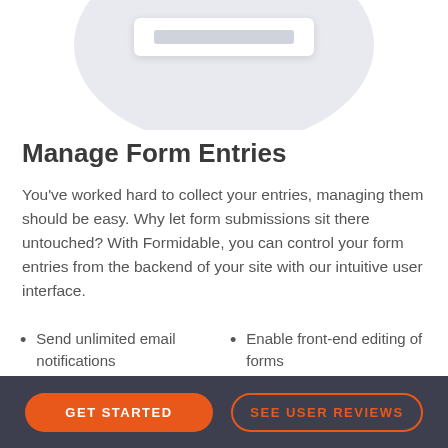[Figure (illustration): Illustration showing a circular gray background with a white mockup card/box containing a gray bar, representing a form UI screenshot.]
Manage Form Entries
You've worked hard to collect your entries, managing them should be easy. Why let form submissions sit there untouched? With Formidable, you can control your form entries from the backend of your site with our intuitive user interface.
Send unlimited email notifications
Enable front-end editing of forms
Access all entries in dashboard
Approve or reject entries easily
GET STARTED   SEE USER REVIEWS